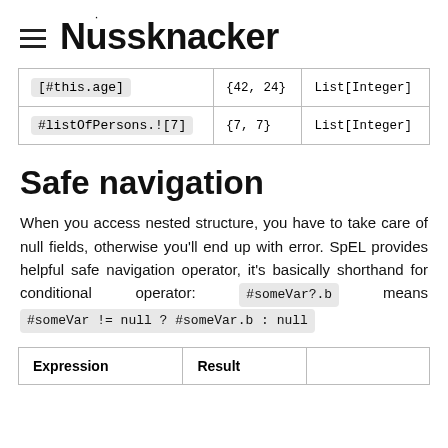≡ Nussknacker
| Expression | Result | Type |
| --- | --- | --- |
| [#this.age] | {42, 24} | List[Integer] |
| #listOfPersons.![7] | {7, 7} | List[Integer] |
Safe navigation
When you access nested structure, you have to take care of null fields, otherwise you'll end up with error. SpEL provides helpful safe navigation operator, it's basically shorthand for conditional operator: #someVar?.b means #someVar != null ? #someVar.b : null
| Expression | Result |  |
| --- | --- | --- |